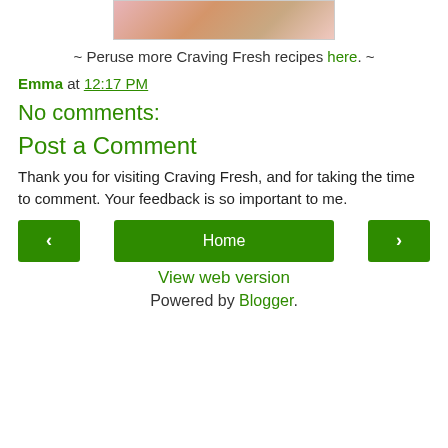[Figure (photo): Partial top image of food/recipe photo with red berries and baked goods on a decorative background]
~ Peruse more Craving Fresh recipes here. ~
Emma at 12:17 PM
No comments:
Post a Comment
Thank you for visiting Craving Fresh, and for taking the time to comment. Your feedback is so important to me.
< | Home | >
View web version
Powered by Blogger.